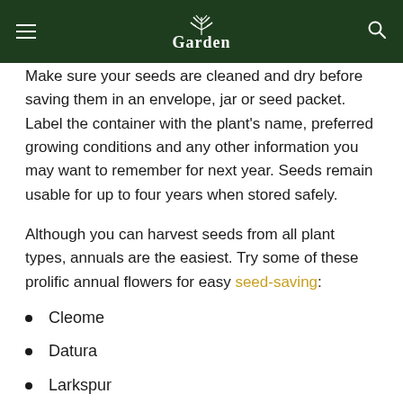Garden
Make sure your seeds are cleaned and dry before saving them in an envelope, jar or seed packet. Label the container with the plant's name, preferred growing conditions and any other information you may want to remember for next year. Seeds remain usable for up to four years when stored safely.
Although you can harvest seeds from all plant types, annuals are the easiest. Try some of these prolific annual flowers for easy seed-saving:
Cleome
Datura
Larkspur
Marigolds
Morning Glory